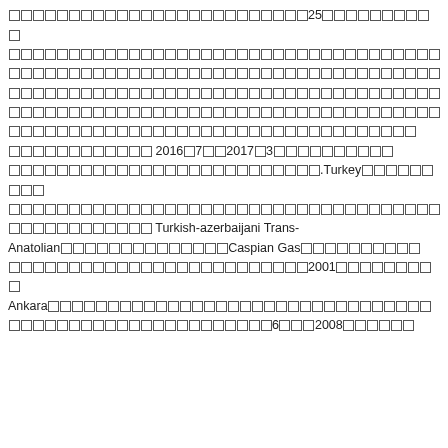Garbled/unrecognized Unicode text block containing references to: 25, 2016年7月to2017年3月, .Turkey, Turkish-azerbaijani Trans-Anatolian (tofu chars) Caspian Gas, 2001, Ankara, 6 (tofu) 2008